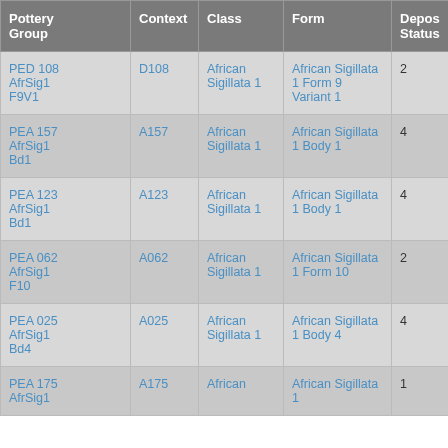| Pottery Group | Context | Class | Form | Depos Status | R Ct | R EV |
| --- | --- | --- | --- | --- | --- | --- |
| PEA 108 AfrSig1 F9V1 | D108 | African Sigillata 1 | African Sigillata 1 Form 9 Variant 1 | 2 | 1 | 1 |
| PEA 157 AfrSig1 Bd1 | A157 | African Sigillata 1 | African Sigillata 1 Body 1 | 4 |  |  |
| PEA 123 AfrSig1 Bd1 | A123 | African Sigillata 1 | African Sigillata 1 Body 1 | 4 |  |  |
| PEA 062 AfrSig1 F10 | A062 | African Sigillata 1 | African Sigillata 1 Form 10 | 2 | 3 | 3 |
| PEA 025 AfrSig1 Bd4 | A025 | African Sigillata 1 | African Sigillata 1 Body 4 | 4 |  |  |
| PEA 175 AfrSig1 | A175 | African | African Sigillata 1 | 1 | 1 | 1 |